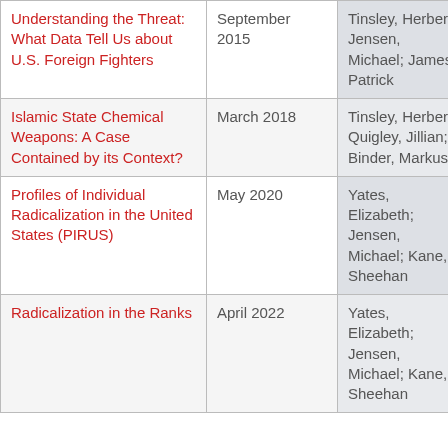| Understanding the Threat: What Data Tell Us about U.S. Foreign Fighters | September 2015 | Tinsley, Herbert; Jensen, Michael; James, Patrick | Research Brief |
| Islamic State Chemical Weapons: A Case Contained by its Context? | March 2018 | Tinsley, Herbert; Quigley, Jillian; Binder, Markus | Journal Article |
| Profiles of Individual Radicalization in the United States (PIRUS) | May 2020 | Yates, Elizabeth; Jensen, Michael; Kane, Sheehan | Research Brief |
| Radicalization in the Ranks | April 2022 | Yates, Elizabeth; Jensen, Michael; Kane, Sheehan | START Reports |